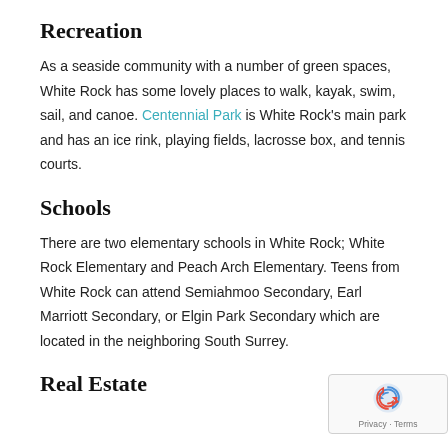Recreation
As a seaside community with a number of green spaces, White Rock has some lovely places to walk, kayak, swim, sail, and canoe. Centennial Park is White Rock’s main park and has an ice rink, playing fields, lacrosse box, and tennis courts.
Schools
There are two elementary schools in White Rock; White Rock Elementary and Peach Arch Elementary. Teens from White Rock can attend Semiahmoo Secondary, Earl Marriott Secondary, or Elgin Park Secondary which are located in the neighboring South Surrey.
Real Estate